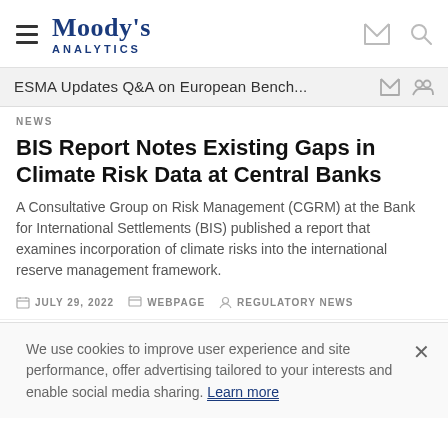Moody's Analytics
ESMA Updates Q&A on European Bench...
NEWS
BIS Report Notes Existing Gaps in Climate Risk Data at Central Banks
A Consultative Group on Risk Management (CGRM) at the Bank for International Settlements (BIS) published a report that examines incorporation of climate risks into the international reserve management framework.
JULY 29, 2022   WEBPAGE   REGULATORY NEWS
We use cookies to improve user experience and site performance, offer advertising tailored to your interests and enable social media sharing. Learn more